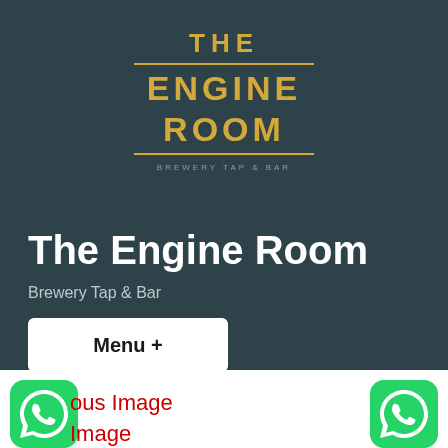[Figure (logo): The Engine Room brewery tap and bar logo in gold/yellow text on dark teal background. Text reads THE / ENGINE / ROOM with horizontal lines and tagline BREWERY TAP & BAR]
The Engine Room
Brewery Tap & Bar
Menu +
[Figure (other): WhatsApp icon (green circle with phone handset) on left side, partially visible with red overlay text reading 'ous Image' and 'Image']
[Figure (other): WhatsApp icon (green circle with phone handset) on right side]